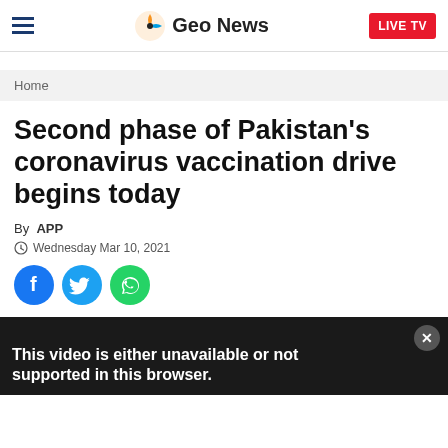Geo News | LIVE TV
Home
Second phase of Pakistan's coronavirus vaccination drive begins today
By APP
Wednesday Mar 10, 2021
[Figure (infographic): Social share icons: Facebook (blue circle), Twitter (light blue circle), WhatsApp (green circle)]
[Figure (screenshot): Video player with dark background showing text: This video is either unavailable or not supported in this browser.]